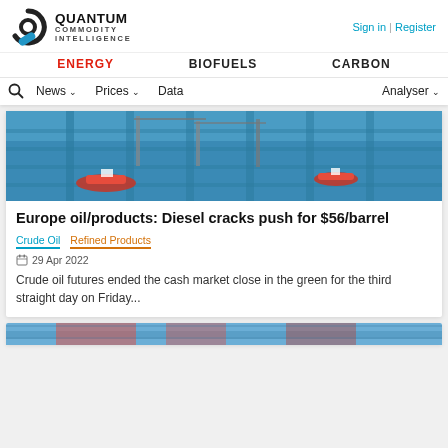QUANTUM COMMODITY INTELLIGENCE
Sign in | Register
ENERGY   BIOFUELS   CARBON
News  Prices  Data  Analyser
[Figure (photo): Aerial view of port/harbour with red and white boats/vessels near blue shipping containers]
Europe oil/products: Diesel cracks push for $56/barrel
Crude Oil   Refined Products
29 Apr 2022
Crude oil futures ended the cash market close in the green for the third straight day on Friday...
[Figure (photo): Partial view of another article image at bottom of page]